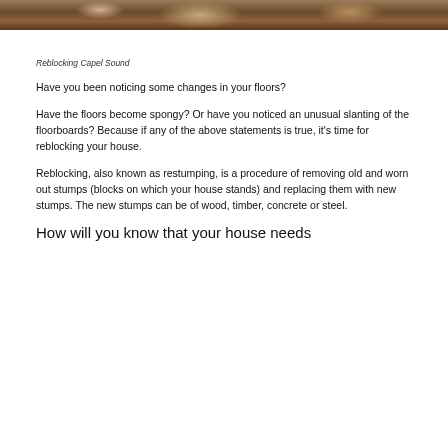[Figure (photo): Top portion of a photo showing wooden floor beams or underfloor structure in brown tones]
Reblocking Capel Sound
Have you been noticing some changes in your floors?
Have the floors become spongy? Or have you noticed an unusual slanting of the floorboards? Because if any of the above statements is true, it's time for reblocking your house.
Reblocking, also known as restumping, is a procedure of removing old and worn out stumps (blocks on which your house stands) and replacing them with new stumps. The new stumps can be of wood, timber, concrete or steel.
How will you know that your house needs